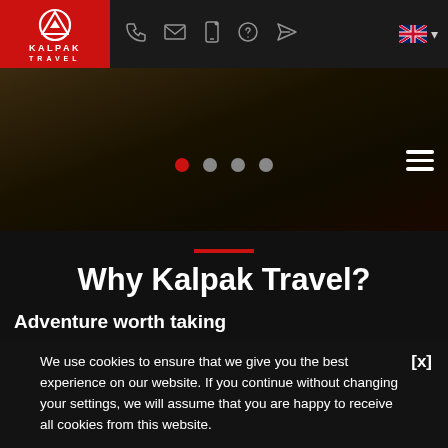[Figure (logo): Kalpak Travel logo — white mountain/triangle icon on red background with white text 'KALPAK TRAVEL' and navigation icons bar]
[Figure (screenshot): Dark hero image area with 4 carousel dots (first red/active, rest grey) and hamburger menu icon at top right]
Why Kalpak Travel?
Adventure worth taking
We use cookies to ensure that we give you the best experience on our website. If you continue without changing your settings, we will assume that you are happy to receive all cookies from this website.